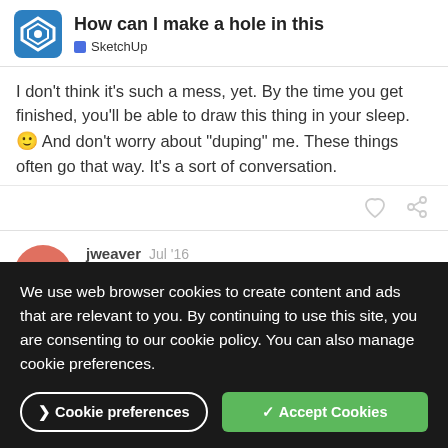How can I make a hole in this — SketchUp
I don't think it's such a mess, yet. By the time you get finished, you'll be able to draw this thing in your sleep. 🙂 And don't worry about "duping" me. These things often go that way. It's a sort of conversation.
jweaver  Jul '16
you are a top man… Going to sit down later with a cuppa and
We use web browser cookies to create content and ads that are relevant to you. By continuing to use this site, you are consenting to our cookie policy. You can also manage cookie preferences.